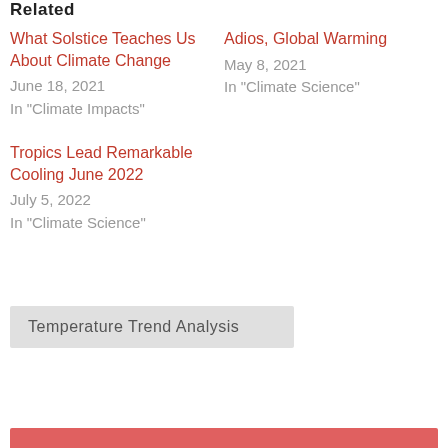Related
What Solstice Teaches Us About Climate Change
June 18, 2021
In "Climate Impacts"
Adios, Global Warming
May 8, 2021
In "Climate Science"
Tropics Lead Remarkable Cooling June 2022
July 5, 2022
In "Climate Science"
Temperature Trend Analysis